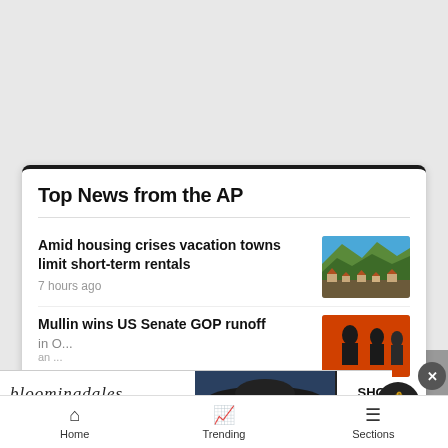Top News from the AP
Amid housing crises vacation towns limit short-term rentals — 7 hours ago
Mullin wins US Senate GOP runoff in Oklahoma
[Figure (screenshot): Bloomingdales advertisement banner: 'View Today's Top Deals!' with SHOP NOW > button and image of woman in hat]
Home   Trending   Sections